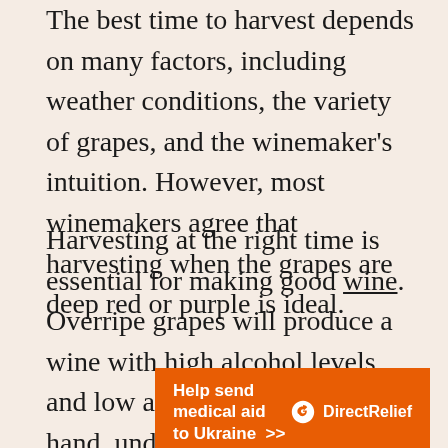The best time to harvest depends on many factors, including weather conditions, the variety of grapes, and the winemaker's intuition. However, most winemakers agree that harvesting when the grapes are deep red or purple is ideal.
Harvesting at the right time is essential for making good wine. Overripe grapes will produce a wine with high alcohol levels and low acidity. On the other hand, underripe grapes will have low alcohol levels and high acidity. Harvesting during the right
[Figure (infographic): Orange advertisement banner for Direct Relief: 'Help send medical aid to Ukraine >>' with Direct Relief logo on right.]